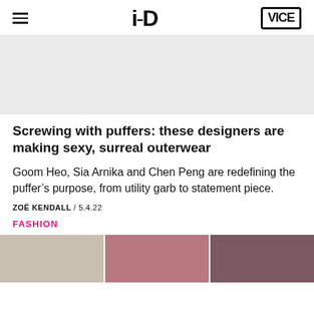i-D / VICE
[Figure (photo): Gray placeholder hero image area]
Screwing with puffers: these designers are making sexy, surreal outerwear
Goom Heo, Sia Arnika and Chen Peng are redefining the puffer’s purpose, from utility garb to statement piece.
ZOË KENDALL / 5.4.22
FASHION
[Figure (photo): Three fashion runway photos showing models wearing puffer-style outerwear with elaborate headwear]